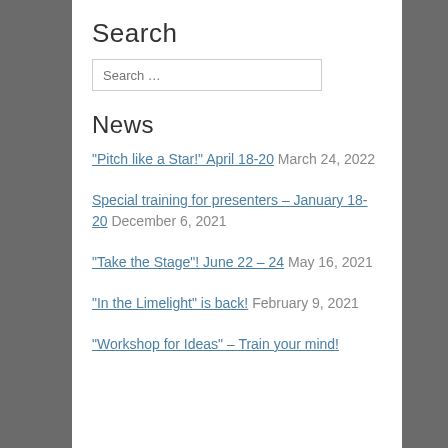Search
[Figure (other): Search input box with placeholder text 'Search ...']
News
"Pitch like a Star!" April 18-20  March 24, 2022
Special training for presenters – January 18-20  December 6, 2021
"Take the Stage"! June 22 – 24  May 16, 2021
"In the Limelight" is back!  February 9, 2021
"Workshop for Ideas" – Train your mind!